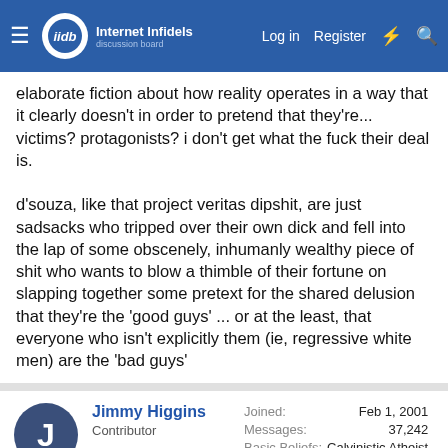Internet Infidels — Log in   Register
elaborate fiction about how reality operates in a way that it clearly doesn't in order to pretend that they're... victims? protagonists? i don't get what the fuck their deal is.

d'souza, like that project veritas dipshit, are just sadsacks who tripped over their own dick and fell into the lap of some obscenely, inhumanly wealthy piece of shit who wants to blow a thimble of their fortune on slapping together some pretext for the shared delusion that they're the 'good guys' ... or at the least, that everyone who isn't explicitly them (ie, regressive white men) are the 'bad guys'
Jimmy Higgins
Contributor
Joined: Feb 1, 2001
Messages: 37,242
Basic Beliefs: Calvinistic Atheist
This site uses cookies to help personalise content, tailor your experience and keep you logged in if you register.
By continuing to use this site, you are consenting to our use of cookies.